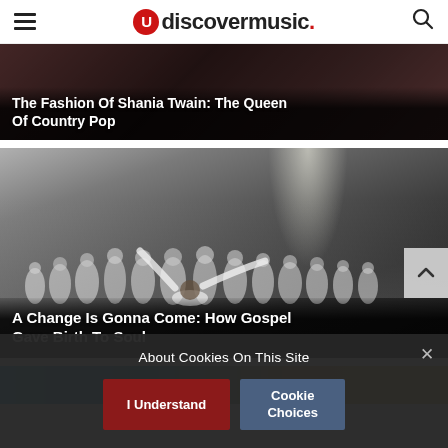uDiscoverMusic
[Figure (photo): Dark background image with text overlay for Shania Twain fashion article]
The Fashion Of Shania Twain: The Queen Of Country Pop
[Figure (photo): Black and white photo of a gospel choir in white robes, with conductor's arms raised, in a church setting]
A Change Is Gonna Come: How Gospel Gave Birth To Soul
[Figure (photo): Partial view of third article card with teal/blue and gold tones]
About Cookies On This Site
I Understand
Cookie Choices